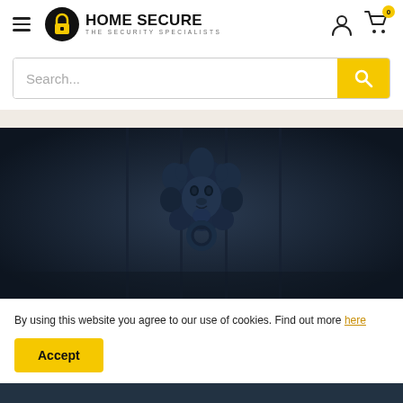[Figure (logo): Home Secure logo with padlock icon and text 'HOME SECURE - THE SECURITY SPECIALISTS']
Search...
[Figure (photo): Dark atmospheric photo of a lion head door knocker on a dark door]
By using this website you agree to our use of cookies. Find out more here
Accept